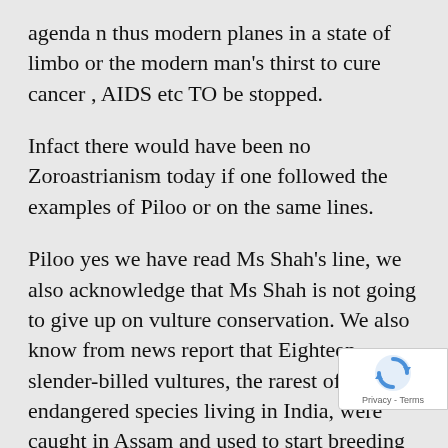agenda n thus modern planes in a state of limbo or the modern man's thirst to cure cancer , AIDS etc TO be stopped.
Infact there would have been no Zoroastrianism today if one followed the examples of Piloo or on the same lines.
Piloo yes we have read Ms Shah's line, we also acknowledge that Ms Shah is not going to give up on vulture conservation. We also know from news report that Eighteen slender-billed vultures, the rarest of three endangered species living in India, were caught in Assam and used to start breeding programmes late last yea Haryana and West Bengal. Since December, the captive population
[Figure (logo): reCAPTCHA badge with rotating arrows logo and Privacy - Terms text]